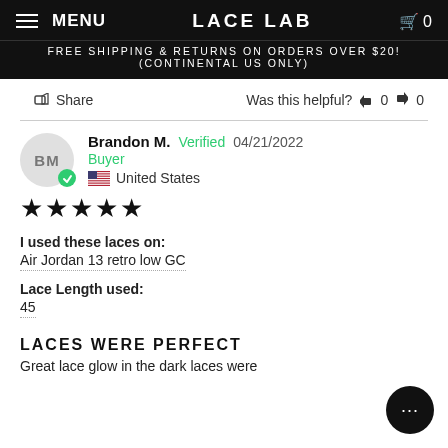MENU   LACE LAB   🛒 0
FREE SHIPPING & RETURNS ON ORDERS OVER $20! (CONTINENTAL US ONLY)
Share   Was this helpful? 👍 0 👎 0
Brandon M.  Verified  04/21/2022
Buyer
🇺🇸 United States
★★★★★
I used these laces on:
Air Jordan 13 retro low GC
Lace Length used:
45
LACES WERE PERFECT
Great lace glow in the dark laces were